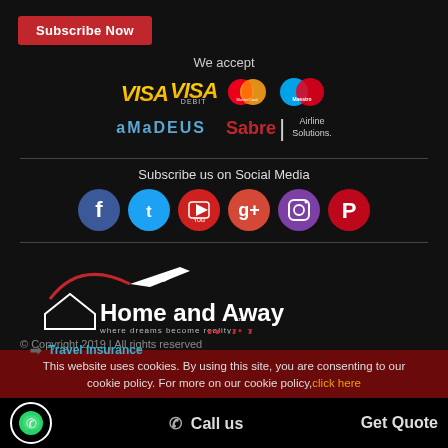Subscribe Now
We accept
[Figure (logo): Payment logos: VISA, VISA Debit, MasterCard, Maestro, Amadeus, Sabre Airline Solutions]
Subscribe us on Social Media
[Figure (logo): Social media icons: Facebook, Twitter, YouTube, Google+, Instagram, Pinterest]
[Figure (logo): Home and Away Holidays logo — where dreams become reality]
© Copyright 2019 | All rights reserved
Travel Insurance
This website uses cookies. By using this site, you are consenting to our cookie policy. For more on our cookie policy, click here
Call us
Get Quote